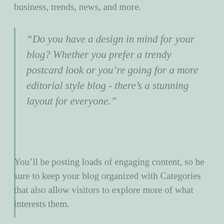business, trends, news, and more.
“Do you have a design in mind for your blog? Whether you prefer a trendy postcard look or you’re going for a more editorial style blog - there’s a stunning layout for everyone.”
You’ll be posting loads of engaging content, so be sure to keep your blog organized with Categories that also allow visitors to explore more of what interests them.